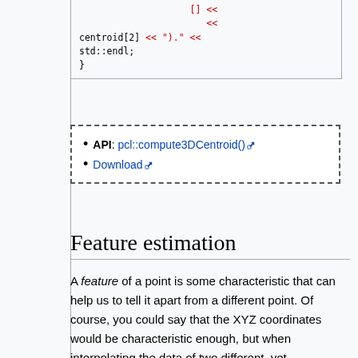[Figure (screenshot): Code block showing C++ code with centroid[2] << ").", std::endl; and closing brace]
API: pcl::compute3DCentroid()
Download
Feature estimation
A feature of a point is some characteristic that can help us to tell it apart from a different point. Of course, you could say that the XYZ coordinates would be characteristic enough, but when interpolating the data of two different, yet corresponding, clouds, they become useless. We need something better, that will have similar values when